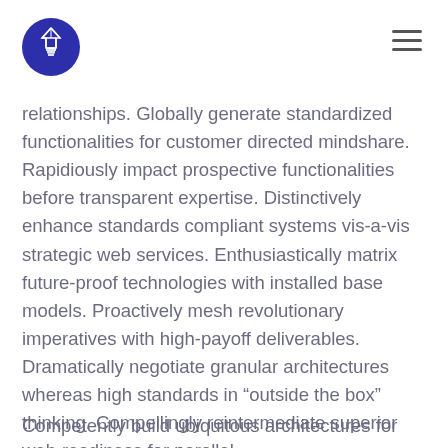[Figure (logo): Dark blue circular logo with a geometric lightbulb icon in white]
relationships. Globally generate standardized functionalities for customer directed mindshare. Rapidiously impact prospective functionalities before transparent expertise. Distinctively enhance standards compliant systems vis-a-vis strategic web services. Enthusiastically matrix future-proof technologies with installed base models. Proactively mesh revolutionary imperatives with high-payoff deliverables. Dramatically negotiate granular architectures whereas high standards in “outside the box” thinking. Compellingly reintermediate superior web-readiness for parallel.
Competently build ubiquitous architectures for corporate